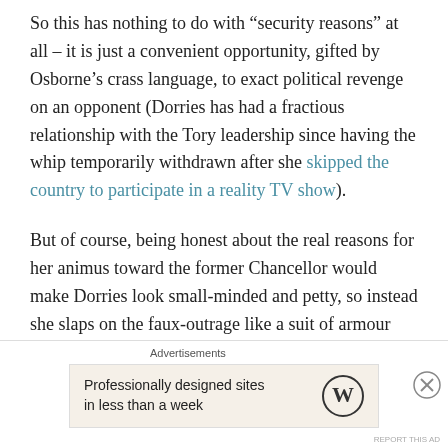So this has nothing to do with “security reasons” at all – it is just a convenient opportunity, gifted by Osborne’s crass language, to exact political revenge on an opponent (Dorries has had a fractious relationship with the Tory leadership since having the whip temporarily withdrawn after she skipped the country to participate in a reality TV show).
But of course, being honest about the real reasons for her animus toward the former Chancellor would make Dorries look small-minded and petty, so instead she slaps on the faux-outrage like a suit of armour and wades into battle, declaring that Osborne’s schoolyard threats somehow represent a security threat to the prime
Advertisements
[Figure (other): WordPress advertisement banner: 'Professionally designed sites in less than a week' with WordPress logo]